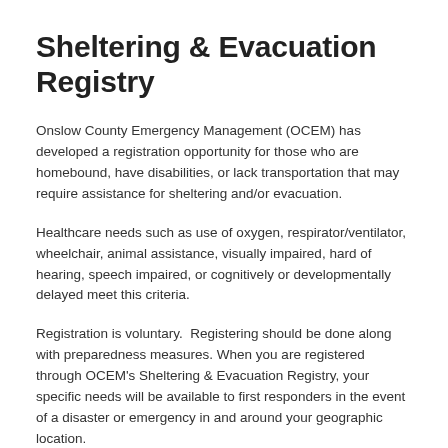Sheltering & Evacuation Registry
Onslow County Emergency Management (OCEM) has developed a registration opportunity for those who are homebound, have disabilities, or lack transportation that may require assistance for sheltering and/or evacuation.
Healthcare needs such as use of oxygen, respirator/ventilator, wheelchair, animal assistance, visually impaired, hard of hearing, speech impaired, or cognitively or developmentally delayed meet this criteria.
Registration is voluntary.  Registering should be done along with preparedness measures. When you are registered through OCEM's Sheltering & Evacuation Registry, your specific needs will be available to first responders in the event of a disaster or emergency in and around your geographic location.